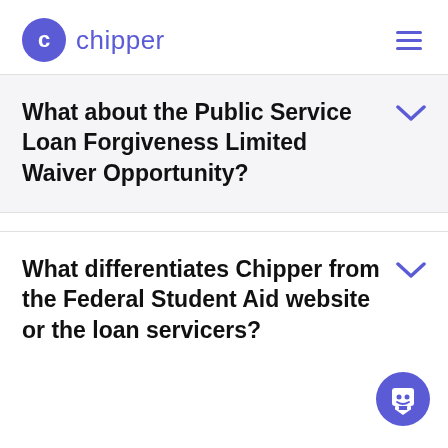chipper
What about the Public Service Loan Forgiveness Limited Waiver Opportunity?
What differentiates Chipper from the Federal Student Aid website or the loan servicers?